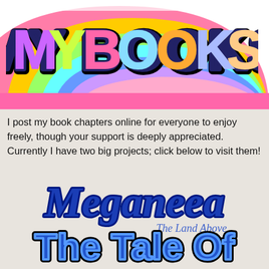[Figure (illustration): Colorful banner with rainbow stripes and 'MY BOOKS' text in large bubble letters with multiple colors and black outline]
I post my book chapters online for everyone to enjoy freely, though your support is deeply appreciated. Currently I have two big projects; click below to visit them!
[Figure (logo): Meganeea - The Land Above logo in ornate dark blue gothic/blackletter script]
[Figure (logo): The Tale Of [cut off] logo in bold blue outlined text with dark outline]